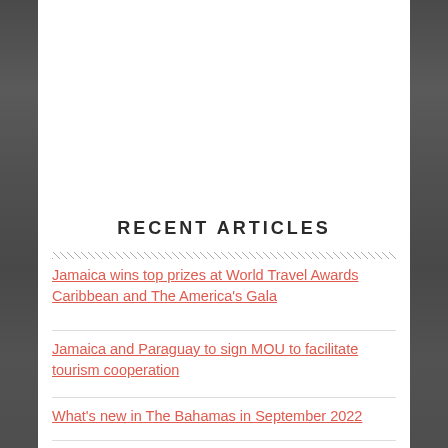[Figure (photo): Dark grayscale urban/cityscape background on left and right side panels flanking a white center content area]
RECENT ARTICLES
Jamaica wins top prizes at World Travel Awards Caribbean and The America's Gala
Jamaica and Paraguay to sign MOU to facilitate tourism cooperation
What's new in The Bahamas in September 2022